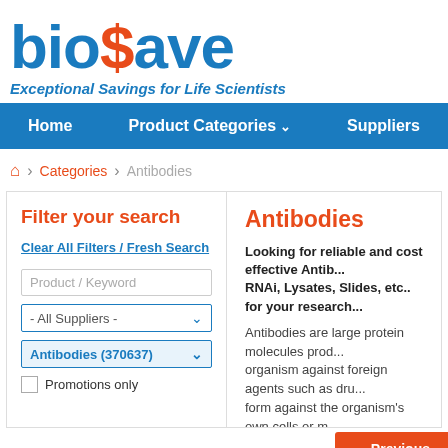biosave
Exceptional Savings for Life Scientists
Home  Product Categories  Suppliers  Vide...
Categories > Antibodies
Filter your search
Clear All Filters / Fresh Search
Product / Keyword
- All Suppliers -
Antibodies (370637)
Promotions only
Antibodies
Looking for reliable and cost effective Antib... RNAi, Lysates, Slides, etc.. for your research...
Antibodies are large protein molecules prod... organism against foreign agents such as dru... form against the organism's own cells or m...
Read More